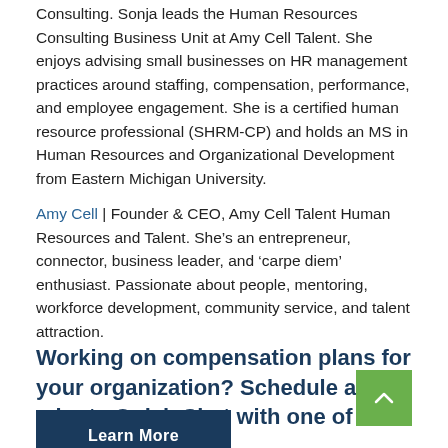Consulting. Sonja leads the Human Resources Consulting Business Unit at Amy Cell Talent. She enjoys advising small businesses on HR management practices around staffing, compensation, performance, and employee engagement. She is a certified human resource professional (SHRM-CP) and holds an MS in Human Resources and Organizational Development from Eastern Michigan University.
Amy Cell | Founder & CEO, Amy Cell Talent Human Resources and Talent. She's an entrepreneur, connector, business leader, and 'carpe diem' enthusiast. Passionate about people, mentoring, workforce development, community service, and talent attraction.
Working on compensation plans for your organization? Schedule a 15-minute Quick Chat with one of our HR Professionals.
Learn More